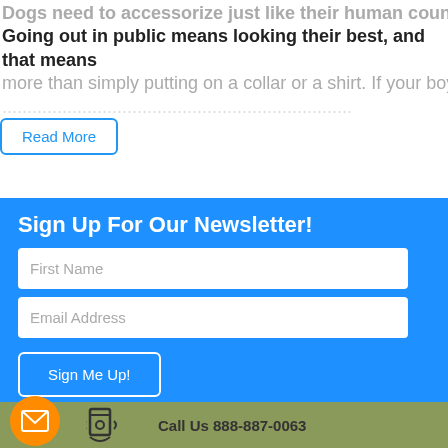Dogs need to accessorize just like their human counterparts. Going out in public means looking their best, and that means more than simply putting on a collar or a shirt. If your boy or girl...
Read More
Sign Up For Our Newsletter!
First Name
Email Address
Sign Me Up!
Call Us 888-887-0063